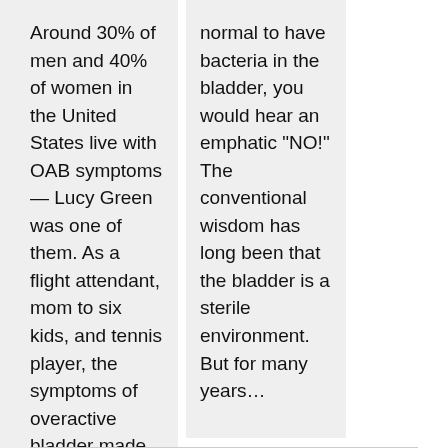Around 30% of men and 40% of women in the United States live with OAB symptoms — Lucy Green was one of them. As a flight attendant, mom to six kids, and tennis player, the symptoms of overactive bladder made life difficult for her. "It will control your life in...
normal to have bacteria in the bladder, you would hear an emphatic "NO!" The conventional wisdom has long been that the bladder is a sterile environment. But for many years...